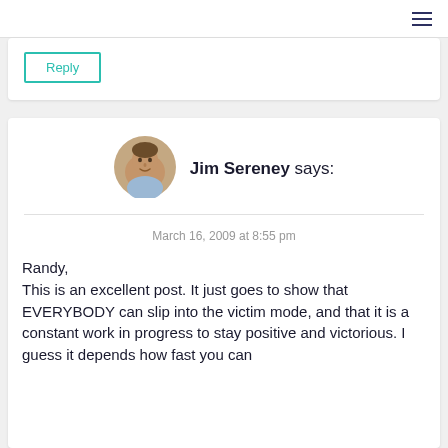[Figure (other): Hamburger menu icon (three horizontal lines) in top right corner]
Reply
[Figure (photo): Circular avatar photo of Jim Sereney, a man in a light-colored shirt]
Jim Sereney says:
March 16, 2009 at 8:55 pm
Randy,
This is an excellent post. It just goes to show that EVERYBODY can slip into the victim mode, and that it is a constant work in progress to stay positive and victorious. I guess it depends how fast you can